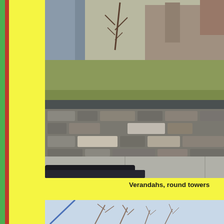[Figure (photo): Outdoor photo showing a stone retaining wall with rough-cut stones, a grassy slope above, bare winter trees, and stone steps/pillars in the background. A car roof is visible in the foreground at the bottom of the frame.]
Verandahs, round towers
[Figure (photo): Partial outdoor photo showing bare winter trees against a light blue sky, with a diagonal blue line (possibly a wire or pole) crossing the frame.]